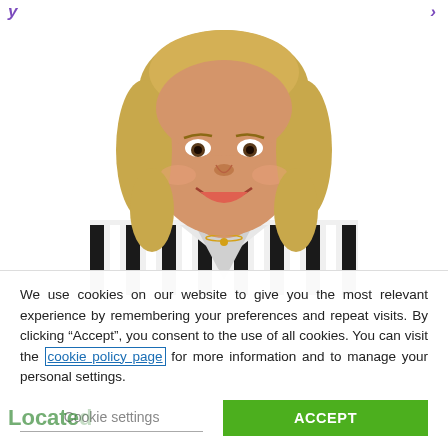[Figure (photo): Portrait photo of a smiling middle-aged woman with blonde shoulder-length hair wearing a black and white striped top with a gold pendant necklace, against a white background.]
We use cookies on our website to give you the most relevant experience by remembering your preferences and repeat visits. By clicking “Accept”, you consent to the use of all cookies. You can visit the cookie policy page for more information and to manage your personal settings.
Cookie settings
ACCEPT